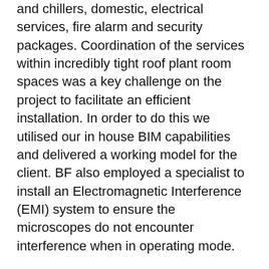and chillers, domestic, electrical services, fire alarm and security packages. Coordination of the services within incredibly tight roof plant room spaces was a key challenge on the project to facilitate an efficient installation. In order to do this we utilised our in house BIM capabilities and delivered a working model for the client. BF also employed a specialist to install an Electromagnetic Interference (EMI) system to ensure the microscopes do not encounter interference when in operating mode.
Following the successful handover of the new build extension we were asked to return to site with SDC to upgrade the HV transformer. This involved a full weekend shut down, whilst not